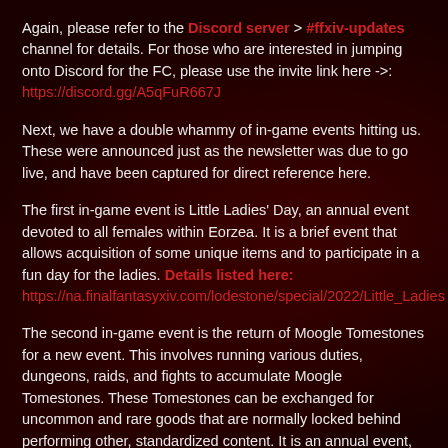Again, please refer to the Discord server > #ffxiv-updates channel for details. For those who are interested in jumping onto Discord for the FC, please use the invite link here ->: https://discord.gg/A5qFuR667J
Next, we have a double whammy of in-game events hitting us. These were announced just as the newsletter was due to go live, and have been captured for direct reference here.
The first in-game event is Little Ladies' Day, an annual event devoted to all females within Eorzea. It is a brief event that allows acquisition of some unique items and to participate in a fun day for the ladies. Details listed here: https://na.finalfantasyxiv.com/lodestone/special/2022/Little_Ladies
The second in-game event is the return of Moogle Tomestones for a new event. This involves running various duties, dungeons, raids, and fights to accumulate Moogle Tomestones. These Tomestones can be exchanged for uncommon and rare goods that are normally locked behind performing other, standardized content. It is an annual event, which gives players opportunities to